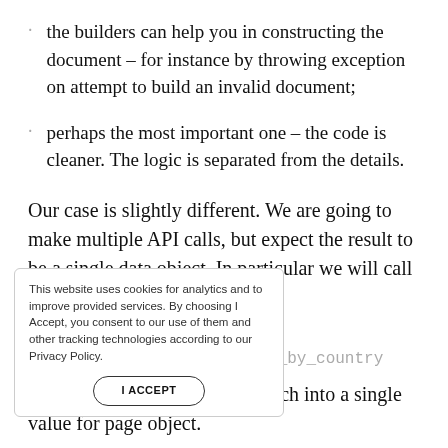the builders can help you in constructing the document – for instance by throwing exception on attempt to build an invalid document;
perhaps the most important one – the code is cleaner. The logic is separated from the details.
Our case is slightly different. We are going to make multiple API calls, but expect the result to be a single data object. In particular we will call those three endpoints:
This website uses cookies for analytics and to improve provided services. By choosing I Accept, you consent to our use of them and other tracking technologies according to our Privacy Policy.
/api/... /pages_country
/api/.../page_storytellers_by_country
and, for the last two, process each into a single value for page object.